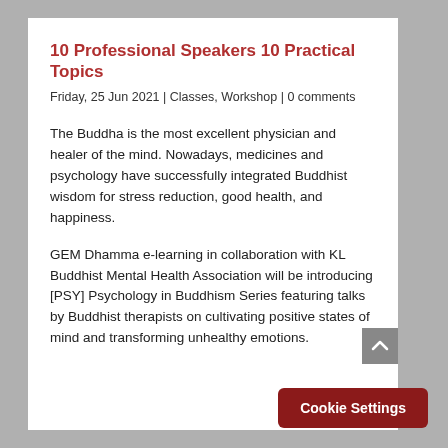10 Professional Speakers 10 Practical Topics
Friday, 25 Jun 2021 | Classes, Workshop | 0 comments
The Buddha is the most excellent physician and healer of the mind. Nowadays, medicines and psychology have successfully integrated Buddhist wisdom for stress reduction, good health, and happiness.
GEM Dhamma e-learning in collaboration with KL Buddhist Mental Health Association will be introducing [PSY] Psychology in Buddhism Series featuring talks by Buddhist therapists on cultivating positive states of mind and transforming unhealthy emotions.